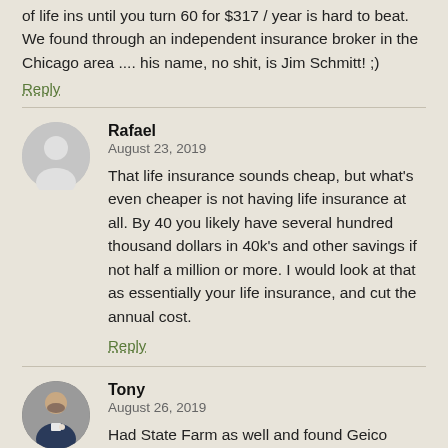of life ins until you turn 60 for $317 / year is hard to beat. We found through an independent insurance broker in the Chicago area .... his name, no shit, is Jim Schmitt! ;)
Reply
Rafael
August 23, 2019
That life insurance sounds cheap, but what's even cheaper is not having life insurance at all. By 40 you likely have several hundred thousand dollars in 40k's and other savings if not half a million or more. I would look at that as essentially your life insurance, and cut the annual cost.
Reply
Tony
August 26, 2019
Had State Farm as well and found Geico insurance for $50 less/month. My State Farm agent made me come into the office to cancel, and laid down the sales manipulation HARD. He kept asking, "You're really going to Geico to save $50/month?!" I told him